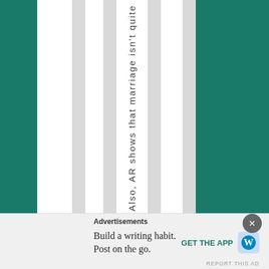Also, AR shows that marriage isn't quite
Advertisements
Build a writing habit. Post on the go.
GET THE APP